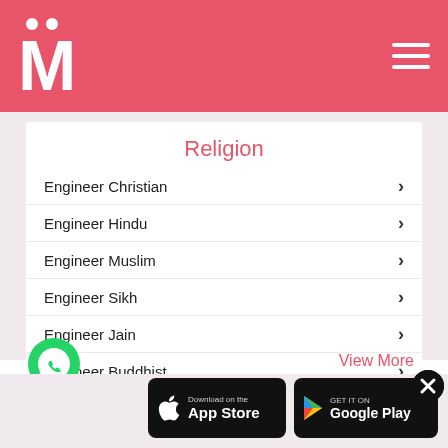M (matrimony app logo) with hamburger menu
Religion
Engineer Christian
Engineer Hindu
Engineer Muslim
Engineer Sikh
Engineer Jain
Engineer Buddhist
View More
[Figure (logo): WhatsApp green phone icon]
[Figure (logo): Download on the App Store button (black background, Apple logo)]
[Figure (logo): GET IT ON Google Play button (black background, Play Store triangle logo)]
[Figure (other): Close button - black circle with X]